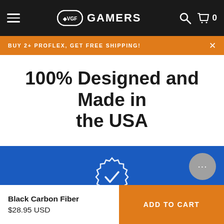VGF GAMERS
BUY 2+ PROFLEX, GET FREE SHIPPING!
100% Designed and Made in the USA
[Figure (illustration): Blue satisfaction badge/seal icon with a checkmark, above the text 100% SATISFACTION]
100% SATISFACTION
Love GameVinyl or get your money ba...
Black Carbon Fiber
$28.95 USD
ADD TO CART